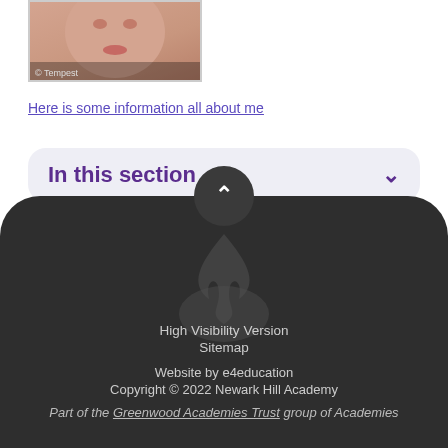[Figure (photo): A photo of a child's face, with © Tempest watermark text in the lower left corner.]
Here is some information all about me
In this section
[Figure (other): Dark rounded footer area with scroll-to-top button and decorative flame watermark]
High Visibility Version
Sitemap
Website by e4education
Copyright © 2022 Newark Hill Academy
Part of the Greenwood Academies Trust group of Academies